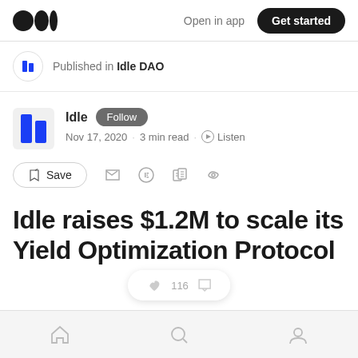Open in app | Get started
Published in Idle DAO
Idle · Follow · Nov 17, 2020 · 3 min read · Listen
Save
Idle raises $1.2M to scale its Yield Optimization Protocol
116